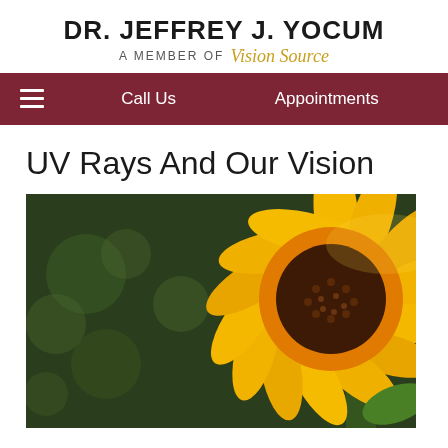DR. JEFFREY J. YOCUM
A MEMBER OF Vision Source
Call Us  Appointments
UV Rays And Our Vision
[Figure (photo): Close-up photograph of a bright yellow sunflower with orange-brown center against a soft dark green bokeh background]